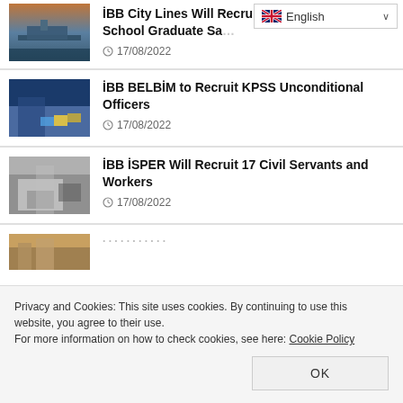[Figure (screenshot): Language selector dropdown showing English with flag]
[Figure (photo): Ship on water at dusk – thumbnail for IBB City Lines article]
İBB City Lines Will Recruit High School Graduate Sa…
17/08/2022
[Figure (photo): Person in business attire with colorful cubes – thumbnail for IBB BELBiM article]
İBB BELBİM to Recruit KPSS Unconditional Officers
17/08/2022
[Figure (photo): Person at desk with laptop – thumbnail for IBB ISPER article]
İBB İSPER Will Recruit 17 Civil Servants and Workers
17/08/2022
[Figure (photo): Partial thumbnail – fourth news item partially visible]
Privacy and Cookies: This site uses cookies. By continuing to use this website, you agree to their use.
For more information on how to check cookies, see here: Cookie Policy
OK